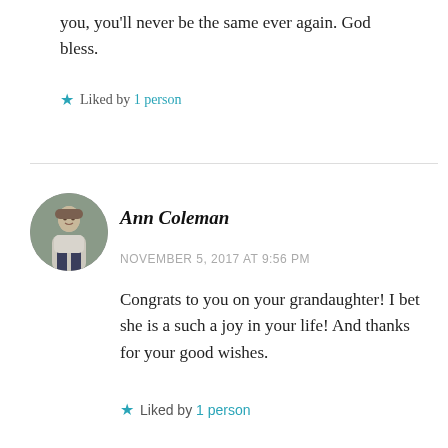you, you'll never be the same ever again. God bless.
Liked by 1 person
Ann Coleman
NOVEMBER 5, 2017 AT 9:56 PM
Congrats to you on your grandaughter! I bet she is a such a joy in your life! And thanks for your good wishes.
Liked by 1 person